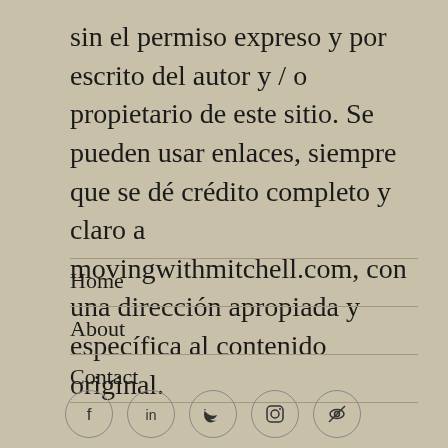sin el permiso expreso y por escrito del autor y / o propietario de este sitio. Se pueden usar enlaces, siempre que se dé crédito completo y claro a movingwithmitchell.com, con una dirección apropiada y específica al contenido original.
Home
About
Contact
[Figure (other): Row of five social media icon buttons (Facebook, LinkedIn, Twitter, Instagram, and a custom icon) in circular outlines]